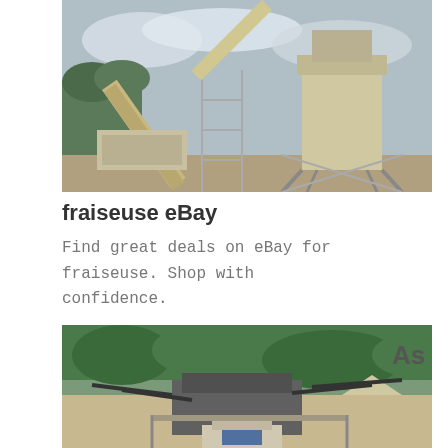[Figure (photo): Industrial quarry or mining facility with a large crusher tower structure, conveyor belts, and scaffolding against a cloudy sky with trees in the background.]
fraiseuse eBay
Find great deals on eBay for fraiseuse. Shop with confidence.
[Figure (photo): Industrial washing or screening plant with conveyor arms, machinery, and a pile of aggregate material, set in an open area with trees in the background.]
As